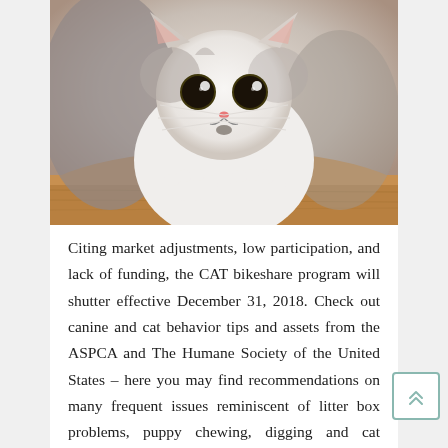[Figure (photo): A white and gray kitten with large eyes and a small dark chin marking, looking up at the camera while resting its paws on a wooden surface.]
Citing market adjustments, low participation, and lack of funding, the CAT bikeshare program will shutter effective December 31, 2018. Check out canine and cat behavior tips and assets from the ASPCA and The Humane Society of the United States – here you may find recommendations on many frequent issues reminiscent of litter box problems, puppy chewing, digging and cat damaging scratching